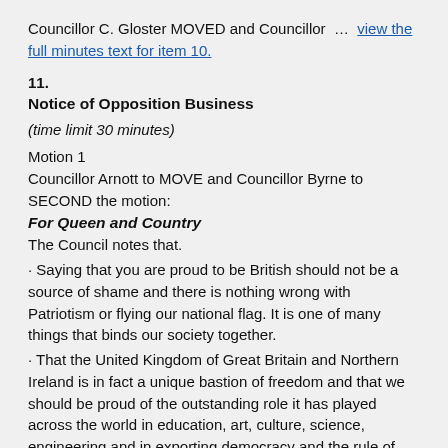Councillor C. Gloster MOVED and Councillor … view the full minutes text for item 10.
11.
Notice of Opposition Business
(time limit 30 minutes)
Motion 1
Councillor Arnott to MOVE and Councillor Byrne to SECOND the motion:
For Queen and Country
The Council notes that.
· Saying that you are proud to be British should not be a source of shame and there is nothing wrong with Patriotism or flying our national flag. It is one of many things that binds our society together.
· That the United Kingdom of Great Britain and Northern Ireland is in fact a unique bastion of freedom and that we should be proud of the outstanding role it has played across the world in education, art, culture, science, engineering and in exporting democracy and the rule of law.
· We all have heroes in our communities – whether they are